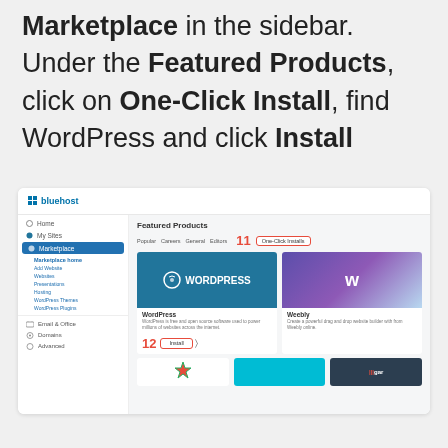Marketplace in the sidebar. Under the Featured Products, click on One-Click Install, find WordPress and click Install
[Figure (screenshot): Bluehost control panel screenshot showing Marketplace selected in sidebar (labeled 10), One-Click Install tab highlighted (labeled 11), WordPress product card, and Install button highlighted (labeled 12)]